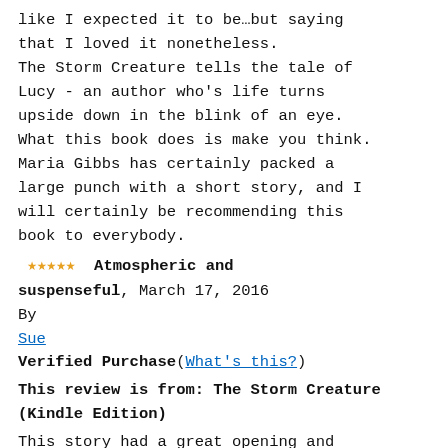like I expected it to be…but saying that I loved it nonetheless. The Storm Creature tells the tale of Lucy - an author who's life turns upside down in the blink of an eye. What this book does is make you think. Maria Gibbs has certainly packed a large punch with a short story, and I will certainly be recommending this book to everybody.
★★★★★ Atmospheric and suspenseful, March 17, 2016
By
Sue
Verified Purchase(What's this?)
This review is from: The Storm Creature (Kindle Edition)
This story had a great opening and